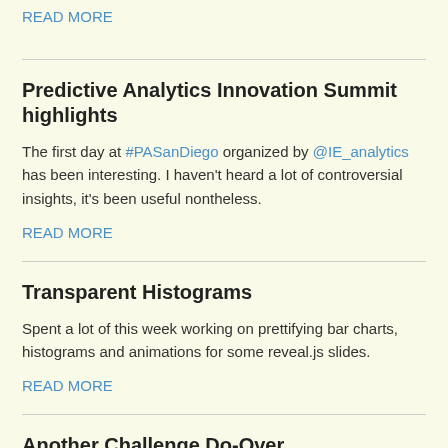READ MORE
Predictive Analytics Innovation Summit highlights
The first day at #PASanDiego organized by @IE_analytics has been interesting. I haven't heard a lot of controversial insights, it's been useful nontheless.
READ MORE
Transparent Histograms
Spent a lot of this week working on prettifying bar charts, histograms and animations for some reveal.js slides.
READ MORE
Another Challenge Do-Over